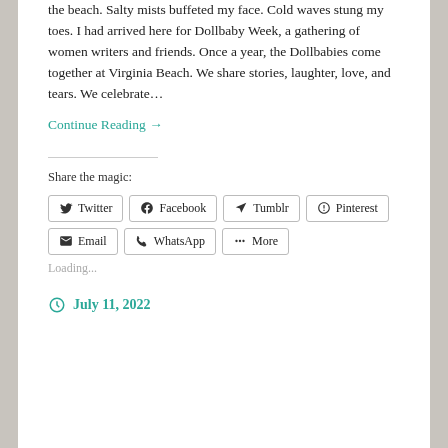the beach. Salty mists buffeted my face. Cold waves stung my toes. I had arrived here for Dollbaby Week, a gathering of women writers and friends. Once a year, the Dollbabies come together at Virginia Beach. We share stories, laughter, love, and tears. We celebrate…
Continue Reading →
Share the magic:
Twitter  Facebook  Tumblr  Pinterest  Email  WhatsApp  More
Loading...
July 11, 2022